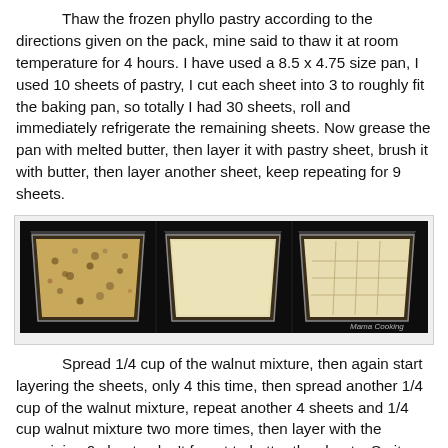Thaw the frozen phyllo pastry according to the directions given on the pack, mine said to thaw it at room temperature for 4 hours. I have used a 8.5 x 4.75 size pan, I used 10 sheets of pastry, I cut each sheet into 3 to roughly fit the baking pan, so totally I had 30 sheets, roll and immediately refrigerate the remaining sheets. Now grease the pan with melted butter, then layer it with pastry sheet, brush it with butter, then layer another sheet, keep repeating for 9 sheets.
[Figure (photo): Three side-by-side photos of baking pans on a dark surface: first pan shows a nut/walnut mixture layer, second pan shows plain phyllo pastry sheets, third pan shows scored/cut phyllo pastry sheets in a grid pattern. Watermark reads 'Mama Cooking'.]
Spread 1/4 cup of the walnut mixture, then again start layering the sheets, only 4 this time, then spread another 1/4 cup of the walnut mixture, repeat another 4 sheets and 1/4 cup walnut mixture two more times, then layer with the remaining 9 sheets, don't forget to butter the sheets. So it